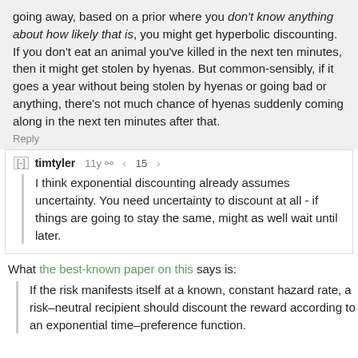going away, based on a prior where you don't know anything about how likely that is, you might get hyperbolic discounting. If you don't eat an animal you've killed in the next ten minutes, then it might get stolen by hyenas. But common-sensibly, if it goes a year without being stolen by hyenas or going bad or anything, there's not much chance of hyenas suddenly coming along in the next ten minutes after that.
Reply
[-] timtyler 11y 15
I think exponential discounting already assumes uncertainty. You need uncertainty to discount at all - if things are going to stay the same, might as well wait until later.
What the best-known paper on this says is:
If the risk manifests itself at a known, constant hazard rate, a risk–neutral recipient should discount the reward according to an exponential time–preference function.